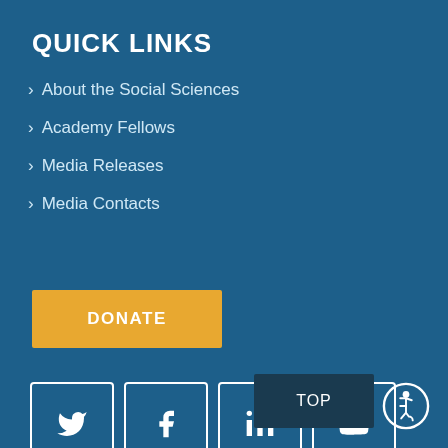QUICK LINKS
About the Social Sciences
Academy Fellows
Media Releases
Media Contacts
DONATE
[Figure (infographic): Social media icons: Twitter, Facebook, LinkedIn, YouTube in white-bordered boxes on blue background]
TOP
[Figure (illustration): Accessibility icon: person in wheelchair inside a circle]